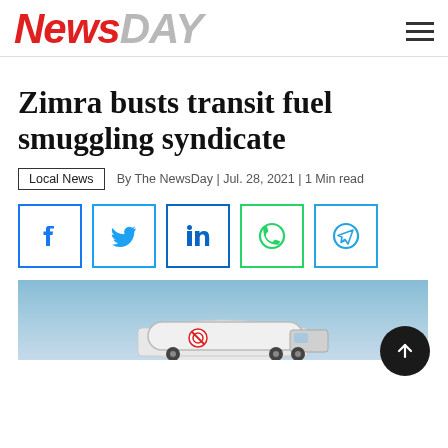NewsDay
Zimra busts transit fuel smuggling syndicate
Local News  By The NewsDay | Jul. 28, 2021 | 1 Min read
[Figure (infographic): Social media share buttons: Facebook, Twitter, LinkedIn, WhatsApp, Telegram]
[Figure (photo): Photo of a fuel tanker truck against a blue sky background]